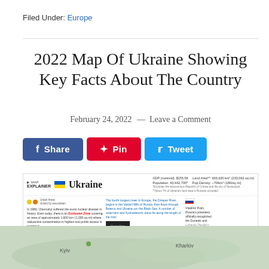Filed Under: Europe
2022 Map Of Ukraine Showing Key Facts About The Country
February 24, 2022 — Leave a Comment
Share  Pin  Tweet
[Figure (infographic): Ukraine Map Explainer infographic with Ukraine flag, title 'Ukraine', GDP, population, land area, pop density stats, Chernobyl nuclear disaster note, Dnieper river note, Vladimir Putin recognition note, and a map of Ukraine showing Kharkiv]
[Figure (map): Map of Ukraine showing terrain, with Kharkiv labeled on the right side]